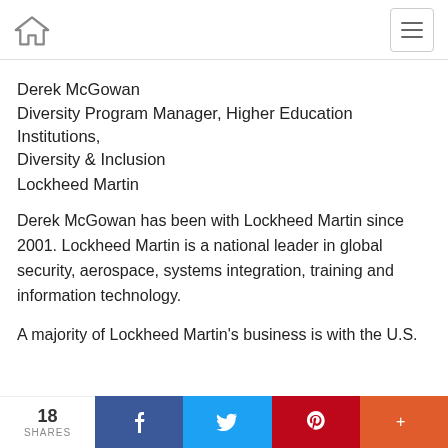Home | Menu
Derek McGowan
Diversity Program Manager, Higher Education Institutions, Diversity & Inclusion
Lockheed Martin
Derek McGowan has been with Lockheed Martin since 2001. Lockheed Martin is a national leader in global security, aerospace, systems integration, training and information technology.
A majority of Lockheed Martin's business is with the U.S.
18 SHARES | Facebook | Twitter | Pinterest | More